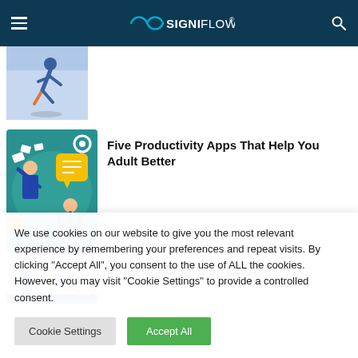SIGNIFLOW
[Figure (illustration): Partially visible illustration of a person running or in motion, with blue and orange colors — top article thumbnail]
[Figure (illustration): Illustration of two stressed office workers at desks with flying papers, yellow speech bubble, teal background — productivity apps article thumbnail]
Five Productivity Apps That Help You Adult Better
[Figure (illustration): Partially visible illustration with gears and a person — bottom article thumbnail (partially clipped)]
We use cookies on our website to give you the most relevant experience by remembering your preferences and repeat visits. By clicking "Accept All", you consent to the use of ALL the cookies. However, you may visit "Cookie Settings" to provide a controlled consent.
Cookie Settings | Accept All